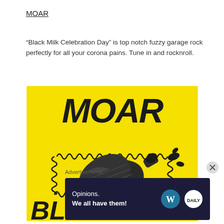MOAR
“Black Milk Celebration Day” is top notch fuzzy garage rock perfectly for all your corona pains. Tune in and rocknroll.
[Figure (illustration): Album artwork with yellow background showing stylized black text 'MOAR' at the top and a black illustrated bottle in the center with wavy border decoration, and partial text 'BL' and 'AY' at bottom corners.]
Advertisements
[Figure (screenshot): Advertisement banner with dark blue background reading 'Opinions. We all have them!' with WordPress and Daily Post logos on the right.]